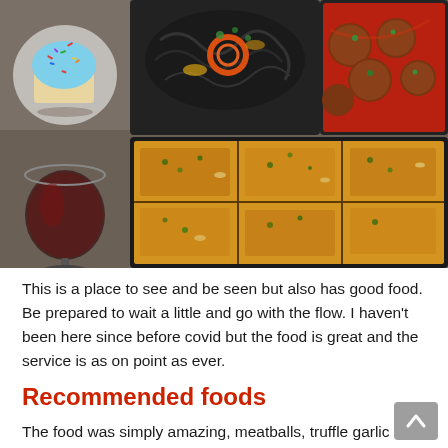[Figure (photo): Overhead shot of takeout food containers with black squid ink pasta, meatballs in tomato sauce, garlic bread slices, a cupcake with blue frosting and sprinkles, and a glass of red wine on a dark table.]
This is a place to see and be seen but also has good food. Be prepared to wait a little and go with the flow. I haven't been here since before covid but the food is great and the service is as on point as ever.
Recommended foods
The food was simply amazing, meatballs, truffle garlic